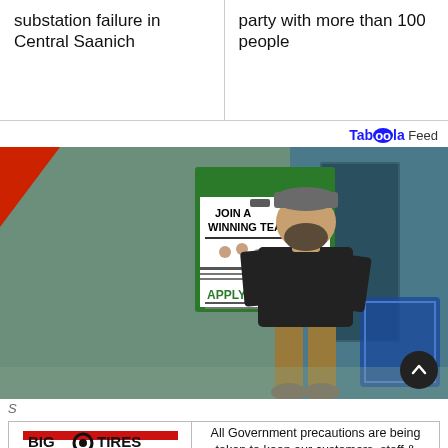substation failure in Central Saanich
party with more than 100 people
Taboola Feed
[Figure (photo): Security camera footage of a bearded man wearing a grey cap, black t-shirt, and khaki pants walking inside a store. A green 'Join A Winning Team - Apply Now' sign is visible in the background.]
...
[Figure (logo): Big O Tires and Service Centers advertisement with text: All Government precautions are being taken to keep our customers, staff & shop safe.]